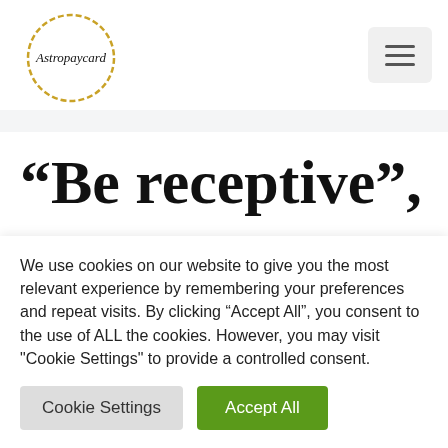[Figure (logo): Astropaycard script logo inside a golden hand-drawn circle]
“Be receptive”,
We use cookies on our website to give you the most relevant experience by remembering your preferences and repeat visits. By clicking “Accept All”, you consent to the use of ALL the cookies. However, you may visit "Cookie Settings" to provide a controlled consent.